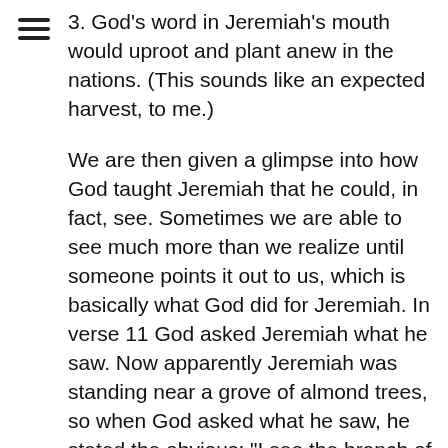3. God's word in Jeremiah's mouth would uproot and plant anew in the nations. (This sounds like an expected harvest, to me.)
We are then given a glimpse into how God taught Jeremiah that he could, in fact, see. Sometimes we are able to see much more than we realize until someone points it out to us, which is basically what God did for Jeremiah. In verse 11 God asked Jeremiah what he saw. Now apparently Jeremiah was standing near a grove of almond trees, so when God asked what he saw, he stated the obvious: "I see the branch of an almond tree." Seriously, Jeremiah?! You're having a discussion with and being quizzed by the God of the Universe and that's the best you can do? You can surely embellish your statement to include color or bees buzzing around – anything to sound a bit wiser! Did you mean to